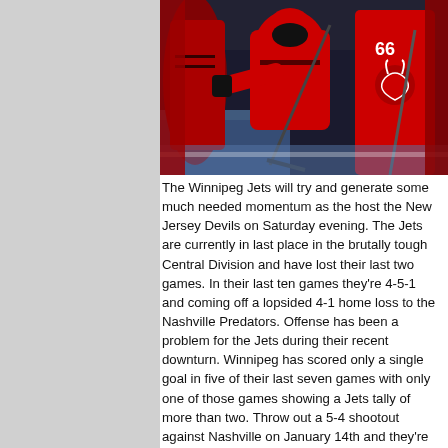[Figure (photo): New Jersey Devils ice hockey players in red uniforms celebrating on the ice, one player wearing number 66]
The Winnipeg Jets will try and generate some much needed momentum as the host the New Jersey Devils on Saturday evening. The Jets are currently in last place in the brutally tough Central Division and have lost their last two games. In their last ten games they're 4-5-1 and coming off a lopsided 4-1 home loss to the Nashville Predators. Offense has been a problem for the Jets during their recent downturn. Winnipeg has scored only a single goal in five of their last seven games with only one of those games showing a Jets tally of more than two. Throw out a 5-4 shootout against Nashville on January 14th and they're averaging 1.16 goals in their last six games. That's not going to get it done especially when they're not getting the work done on the defensive end. With starting goaltender Ondrej Pavelec out indefinitely due to a knee injury and his presumptive backup Michael Hutchinson